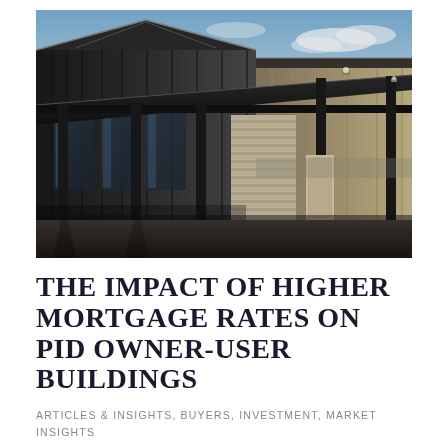[Figure (photo): Exterior photograph of a modern industrial/commercial building with dark metal cladding, glass panels, steel columns, a large canopy overhang, and a loading bay door. The sky is partly cloudy with warm golden light suggesting late afternoon.]
THE IMPACT OF HIGHER MORTGAGE RATES ON PID OWNER-USER BUILDINGS
ARTICLES & INSIGHTS, BUYERS, INVESTMENT, MARKET INSIGHTS